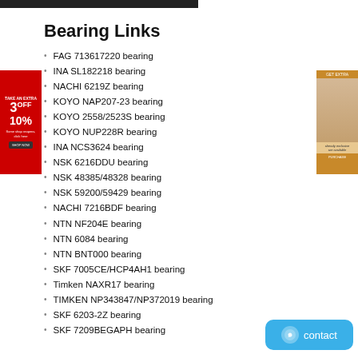Bearing Links
FAG 713617220 bearing
INA SL182218 bearing
NACHI 6219Z bearing
KOYO NAP207-23 bearing
KOYO 2558/2523S bearing
KOYO NUP228R bearing
INA NCS3624 bearing
NSK 6216DDU bearing
NSK 48385/48328 bearing
NSK 59200/59429 bearing
NACHI 7216BDF bearing
NTN NF204E bearing
NTN 6084 bearing
NTN BNT000 bearing
SKF 7005CE/HCP4AH1 bearing
Timken NAXR17 bearing
TIMKEN NP343847/NP372019 bearing
SKF 6203-2Z bearing
SKF 7209BEGAPH bearing
[Figure (other): Red advertisement banner on left side with 3OFF 10% discount offer]
[Figure (other): Advertisement image on right side showing a person]
[Figure (other): Blue contact button at bottom right]